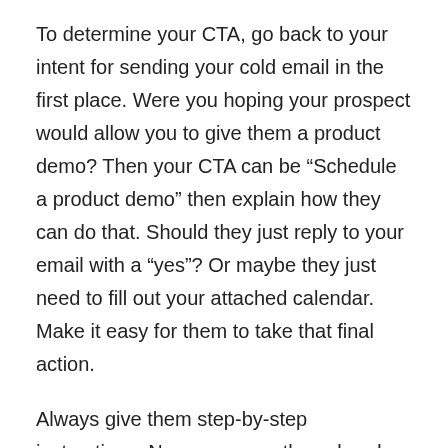To determine your CTA, go back to your intent for sending your cold email in the first place. Were you hoping your prospect would allow you to give them a product demo? Then your CTA can be “Schedule a product demo” then explain how they can do that. Should they just reply to your email with a “yes”? Or maybe they just need to fill out your attached calendar. Make it easy for them to take that final action.
Always give them step-by-step instructions. Never assume they already know what to do to take you up on your offer.